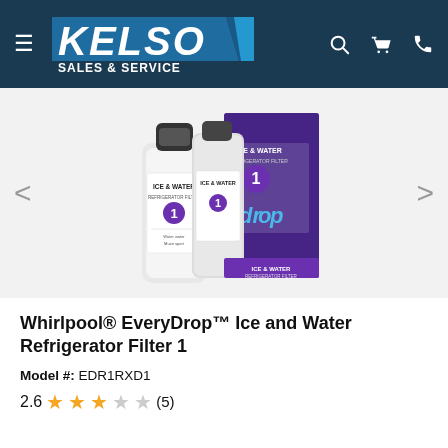[Figure (logo): Kelso Sales & Service logo — white italic bold text on dark navy header with blue parallelogram accent]
[Figure (photo): Whirlpool EveryDrop Ice and Water Refrigerator Filter 1 product photo showing two white filter cartridges and a purple/black retail box]
Whirlpool® EveryDrop™ Ice and Water Refrigerator Filter 1
Model #: EDR1RXD1
2.6 ★★★☆☆ (5)